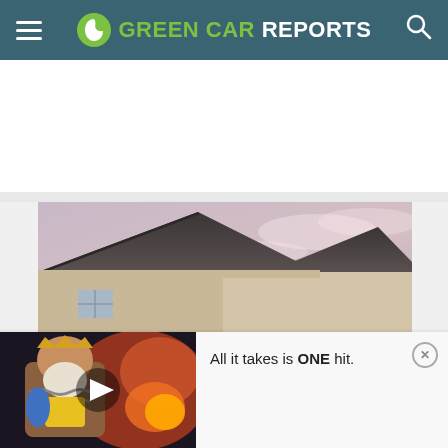GREEN CAR REPORTS
[Figure (photo): Rooftop of a house with dark shingles against a cloudy pinkish sky with trees in the background]
[Figure (screenshot): Video advertisement overlay showing an animated warrior character with text 'All it takes is ONE hit.' and a close button]